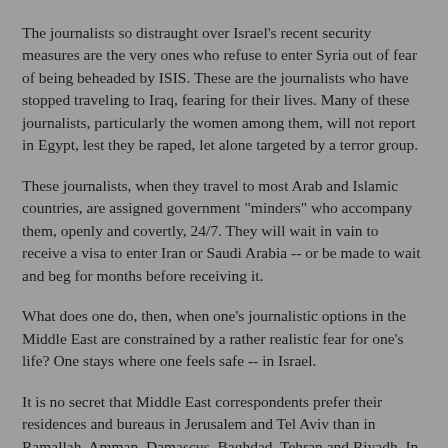The journalists so distraught over Israel's recent security measures are the very ones who refuse to enter Syria out of fear of being beheaded by ISIS. These are the journalists who have stopped traveling to Iraq, fearing for their lives. Many of these journalists, particularly the women among them, will not report in Egypt, lest they be raped, let alone targeted by a terror group.
These journalists, when they travel to most Arab and Islamic countries, are assigned government "minders" who accompany them, openly and covertly, 24/7. They will wait in vain to receive a visa to enter Iran or Saudi Arabia -- or be made to wait and beg for months before receiving it.
What does one do, then, when one's journalistic options in the Middle East are constrained by a rather realistic fear for one's life? One stays where one feels safe -- in Israel.
It is no secret that Middle East correspondents prefer their residences and bureaus in Jerusalem and Tel Aviv than in Ramallah, Amman, Damascus, Baghdad, Tehran and Riyadh. In Israel, no matter what they write today, they will live to write